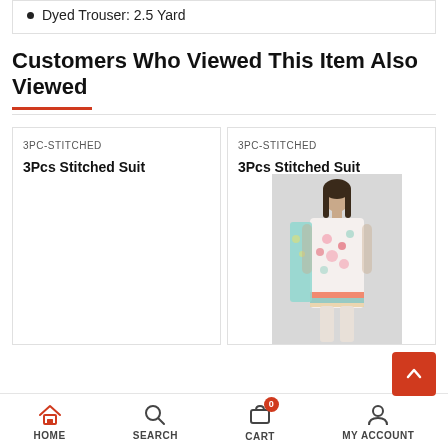Dyed Trouser: 2.5 Yard
Customers Who Viewed This Item Also Viewed
[Figure (screenshot): Two product cards side by side labeled '3PC-STITCHED' each showing '3Pcs Stitched Suit'. Right card shows a photo of a woman in a floral 3-piece suit.]
HOME  SEARCH  CART  MY ACCOUNT